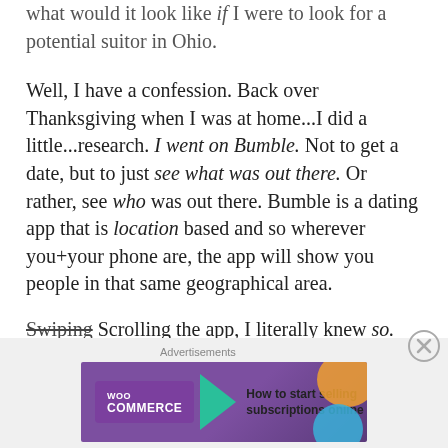what would it look like if I were to look for a potential suitor in Ohio.

Well, I have a confession. Back over Thanksgiving when I was at home...I did a little...research. I went on Bumble. Not to get a date, but to just see what was out there. Or rather, see who was out there. Bumble is a dating app that is location based and so wherever you+your phone are, the app will show you people in that same geographical area.

Swiping Scrolling the app, I literally knew so.
[Figure (infographic): WooCommerce advertisement banner: purple background with WooCommerce logo, green arrow shape, and text 'How to start selling subscriptions online'. Orange and blue decorative shapes in top-right and bottom-right corners.]